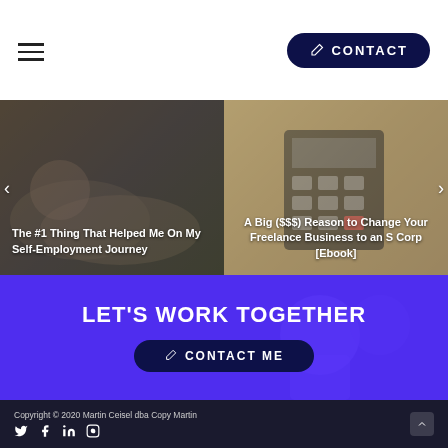CONTACT
[Figure (screenshot): Carousel with two slides: left slide shows 'The #1 Thing That Helped Me On My Self-Employment Journey' over a photo of shoes; right slide shows 'A Big ($$$) Reason to Change Your Freelance Business to an S Corp [Ebook]' over a photo of a calculator]
[Figure (screenshot): Purple CTA section with large bold white text 'LET'S WORK TOGETHER' and a dark navy 'CONTACT ME' button]
Copyright © 2020 Martin Ceisel dba Copy Martin